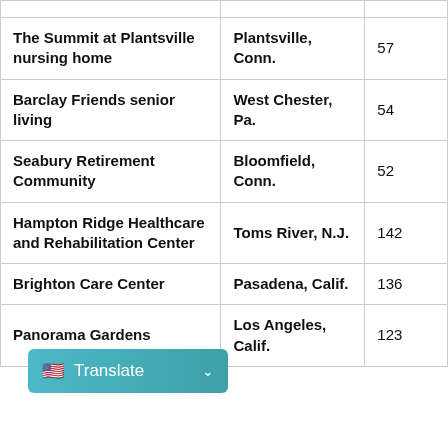| The Summit at Plantsville nursing home | Plantsville, Conn. | 57 |
| Barclay Friends senior living | West Chester, Pa. | 54 |
| Seabury Retirement Community | Bloomfield, Conn. | 52 |
| Hampton Ridge Healthcare and Rehabilitation Center | Toms River, N.J. | 142 |
| Brighton Care Center | Pasadena, Calif. | 136 |
| Panorama Gardens | Los Angeles, Calif. | 123 |